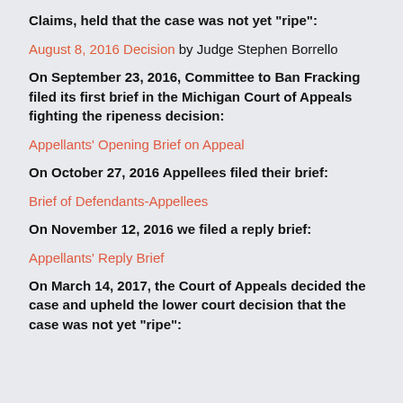Claims, held that the case was not yet "ripe":
August 8, 2016 Decision by Judge Stephen Borrello
On September 23, 2016, Committee to Ban Fracking filed its first brief in the Michigan Court of Appeals fighting the ripeness decision:
Appellants' Opening Brief on Appeal
On October 27, 2016 Appellees filed their brief:
Brief of Defendants-Appellees
On November 12, 2016 we filed a reply brief:
Appellants' Reply Brief
On March 14, 2017, the Court of Appeals decided the case and upheld the lower court decision that the case was not yet "ripe":